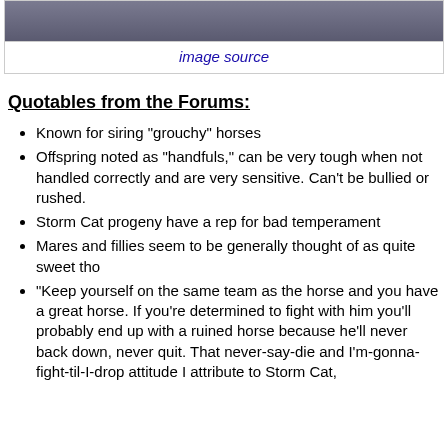[Figure (photo): Partial photo of horses, mostly cropped at the top of the page]
image source
Quotables from the Forums:
Known for siring "grouchy" horses
Offspring noted as "handfuls," can be very tough when not handled correctly and are very sensitive. Can't be bullied or rushed.
Storm Cat progeny have a rep for bad temperament
Mares and fillies seem to be generally thought of as quite sweet tho
"Keep yourself on the same team as the horse and you have a great horse. If you're determined to fight with him you'll probably end up with a ruined horse because he'll never back down, never quit. That never-say-die and I'm-gonna-fight-til-I-drop attitude I attribute to Storm Cat,